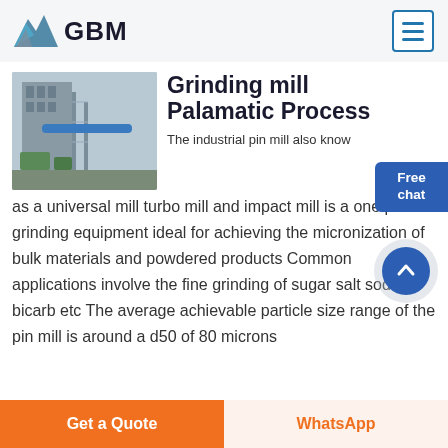GBM
Grinding mill Palamatic Process
[Figure (photo): Industrial grinding mill facility with blue piping and scaffolding structure]
The industrial pin mill also known as a universal mill turbo mill and impact mill is a one pass grinding equipment ideal for achieving the micronization of bulk materials and powdered products Common applications involve the fine grinding of sugar salt sodium bicarb etc The average achievable particle size range of the pin mill is around a d50 of 80 microns
Free chat
Get a Quote
WhatsApp